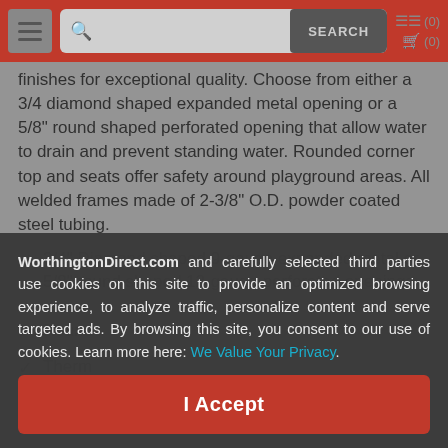Navigation bar with menu, search, and cart icons
finishes for exceptional quality. Choose from either a 3/4 diamond shaped expanded metal opening or a 5/8" round shaped perforated opening that allow water to drain and prevent standing water. Rounded corner top and seats offer safety around playground areas. All welded frames made of 2-3/8" O.D. powder coated steel tubing.
3/4" Diamond shaped 9-gauge expanded metal or 5/8" round shaped 12-gauge perforated openings
Rounded corner top and seats
Therm...
MIG W... tubing...
Umbre...
Choice...
Standa...
WorthingtonDirect.com and carefully selected third parties use cookies on this site to provide an optimized browsing experience, to analyze traffic, personalize content and serve targeted ads. By browsing this site, you consent to our use of cookies. Learn more here: We Value Your Privacy. I Accept